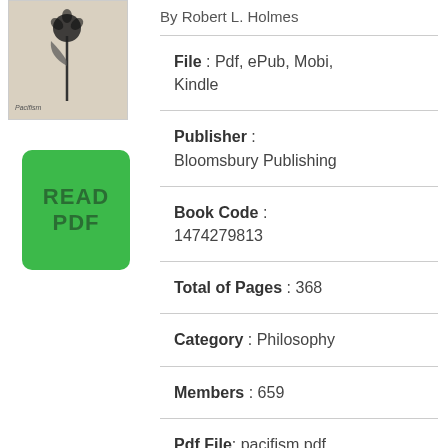[Figure (illustration): Book cover thumbnail for Pacifism by Robert L. Holmes, beige/cream background with a dark flower/plant illustration]
[Figure (other): Green rounded rectangle button with text READ PDF]
By Robert L. Holmes
File : Pdf, ePub, Mobi, Kindle
Publisher : Bloomsbury Publishing
Book Code : 1474279813
Total of Pages : 368
Category : Philosophy
Members : 659
Pdf File: pacifism.pdf